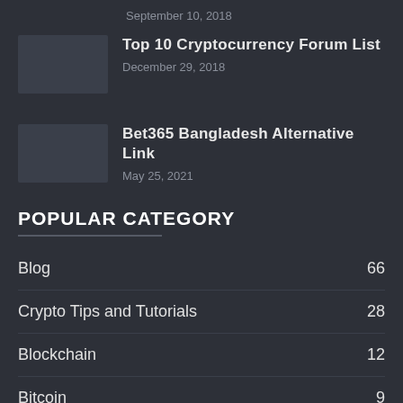September 10, 2018
Top 10 Cryptocurrency Forum List
December 29, 2018
Bet365 Bangladesh Alternative Link
May 25, 2021
POPULAR CATEGORY
Blog 66
Crypto Tips and Tutorials 28
Blockchain 12
Bitcoin 9
Free Cryptocurrency 4